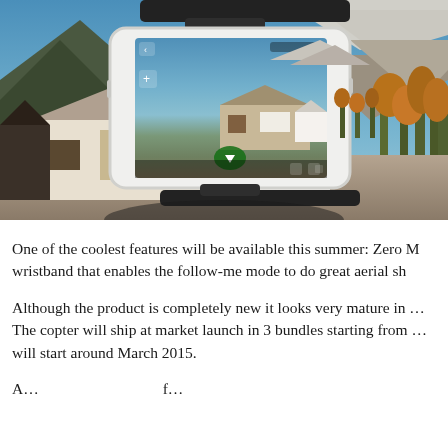[Figure (photo): A drone/quadcopter device shown from above a smartphone displaying an aerial view app. The background shows alpine mountains, blue sky, and a farmhouse/barn in a rural landscape. The smartphone shows a camera/navigation app interface.]
One of the coolest features will be available this summer: Zero wristband that enables the follow-me mode to do great aerial sh...
Although the product is completely new it looks very mature in... The copter will ship at market launch in 3 bundles starting from... will start around March 2015.
A... all... b... l... f... f...